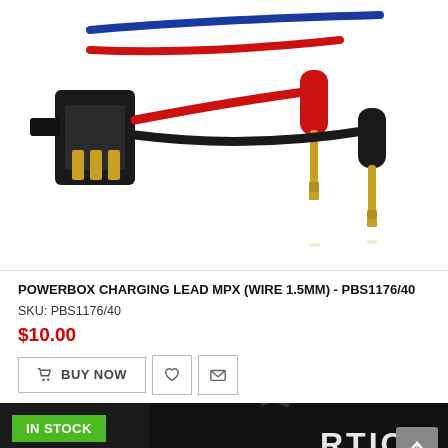[Figure (photo): Product photo of a PowerBox charging lead MPX cable with banana plug connectors (red and black) and a black MPX connector end, on white background.]
POWERBOX CHARGING LEAD MPX (WIRE 1.5MM) - PBS1176/40
SKU: PBS1176/40
$10.00
BUY NOW
[Figure (photo): Partial product photo showing a black bag/case with white ARTICA logo text, with a green IN STOCK badge overlay.]